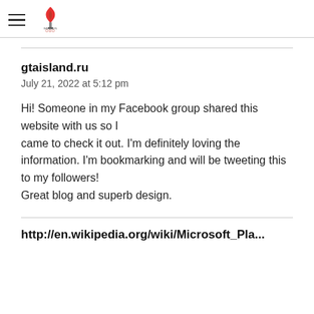Bahrain Olympic Committee header with hamburger menu and logo
gtaisland.ru
July 21, 2022 at 5:12 pm
Hi! Someone in my Facebook group shared this website with us so I came to check it out. I'm definitely loving the information. I'm bookmarking and will be tweeting this to my followers!
Great blog and superb design.
http...